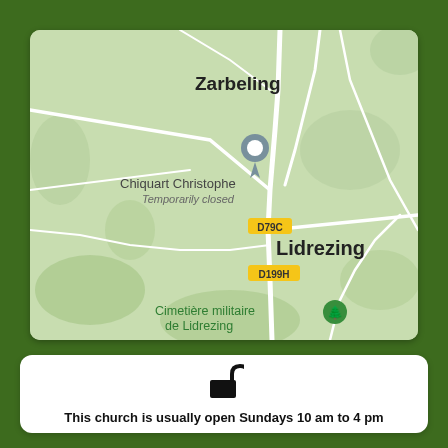[Figure (map): Google Maps screenshot showing the area around Zarbeling and Lidrezing in France, with a location pin for 'Chiquart Christophe - Temporarily closed', road labels D79C and D199H, and Cimetière militaire de Lidrezing visible at the bottom.]
This church is usually open Sundays 10 am to 4 pm